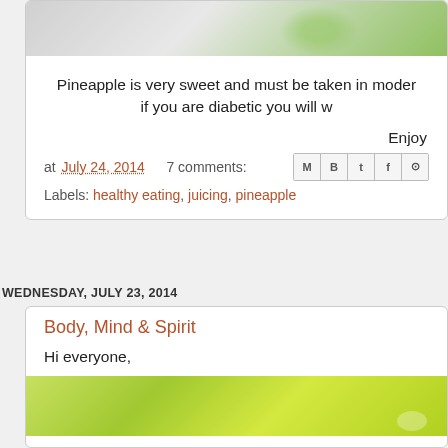[Figure (photo): Partial photo of green juice in a glass on a light surface, cropped at top]
Pineapple is very sweet and must be taken in moderately, if you are diabetic you will w...
Enjoy
at July 24, 2014   7 comments:
Labels: healthy eating, juicing, pineapple
WEDNESDAY, JULY 23, 2014
Body, Mind & Spirit
Hi everyone,
[Figure (photo): Partial photo of green produce with bright lime green background, cropped at bottom]